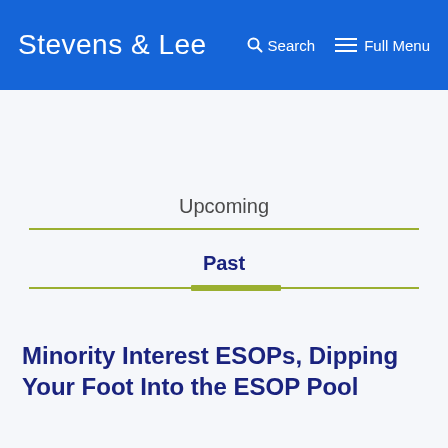Stevens & Lee   Search   Full Menu
Upcoming
Past
Minority Interest ESOPs, Dipping Your Foot Into the ESOP Pool